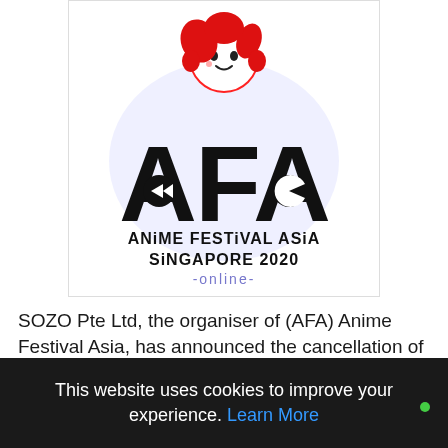[Figure (logo): Anime Festival Asia Singapore 2020 Online logo with AFA mascot character (anime girl with red hair) above stylized AFA letters. Text reads: ANiME FESTiVAL ASiA SINGAPORE 2020 -online-]
SOZO Pte Ltd, the organiser of (AFA) Anime Festival Asia, has announced the cancellation of C3AFA Singapore 2020 physical event this year.  AFA Singapore has been taking place mainly at the Suntec Singapore Convention and Exhibition Centre for the past 10 years since 2009...
This website uses cookies to improve your experience. Learn More